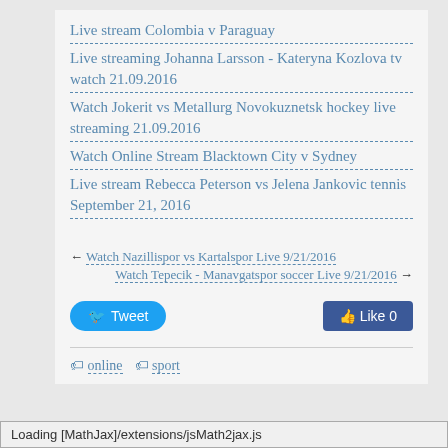Live stream Colombia v Paraguay
Live streaming Johanna Larsson - Kateryna Kozlova tv watch 21.09.2016
Watch Jokerit vs Metallurg Novokuznetsk hockey live streaming 21.09.2016
Watch Online Stream Blacktown City v Sydney
Live stream Rebecca Peterson vs Jelena Jankovic tennis September 21, 2016
← Watch Nazillispor vs Kartalspor Live 9/21/2016
Watch Tepecik - Manavgatspor soccer Live 9/21/2016 →
Tweet  Like 0
online  sport
Loading [MathJax]/extensions/jsMath2jax.js